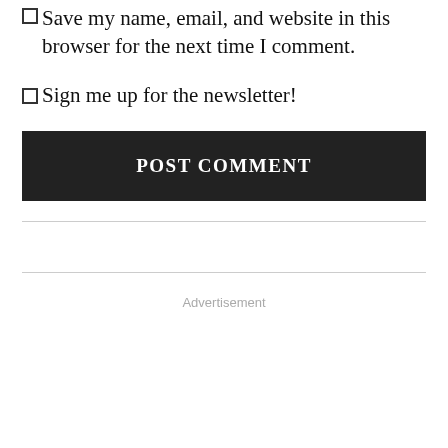Save my name, email, and website in this browser for the next time I comment.
Sign me up for the newsletter!
POST COMMENT
Advertisement